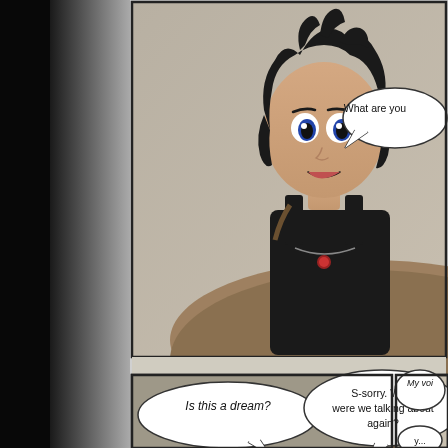[Figure (illustration): Manga/comic page showing two panels. Top panel: a dark-haired anime girl in a black tank top with a necklace, speech bubble saying 'What are you...' (cut off at right edge). Bottom panel: an angel-winged character with brown hair wearing a white feathered outfit and red collar, with speech bubbles: 'Is this a dream?' and 'S-sorry. What were we talking about again?'. Partially visible right panel shows another character with text 'My voi...' and 'y...' cut off.]